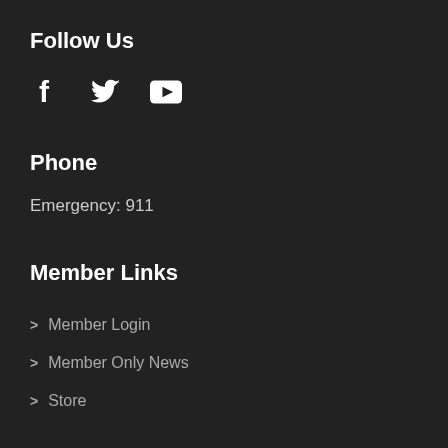Follow Us
[Figure (illustration): Social media icons: Facebook (f), Twitter (bird), YouTube (play button)]
Phone
Emergency: 911
Member Links
Member Login
Member Only News
Store